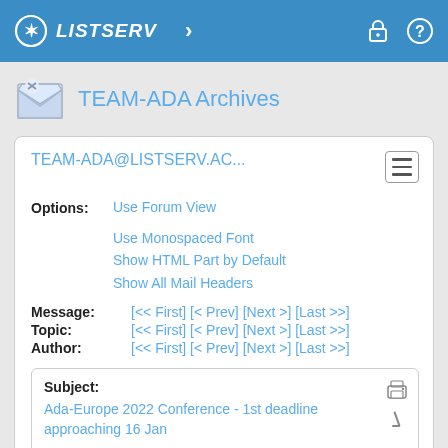LISTSERV
TEAM-ADA Archives
TEAM-ADA@LISTSERV.AC...
Options: Use Forum View
Use Monospaced Font
Show HTML Part by Default
Show All Mail Headers
Message: [<< First] [< Prev] [Next >] [Last >>]
Topic: [<< First] [< Prev] [Next >] [Last >>]
Author: [<< First] [< Prev] [Next >] [Last >>]
Subject: Ada-Europe 2022 Conference - 1st deadline approaching 16 Jan
From: